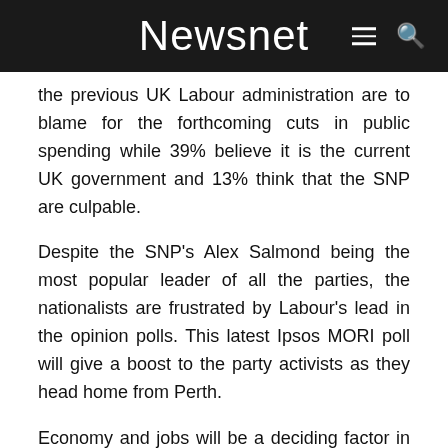Newsnet
the previous UK Labour administration are to blame for the forthcoming cuts in public spending while 39% believe it is the current UK government and 13% think that the SNP are culpable.
Despite the SNP's Alex Salmond being the most popular leader of all the parties, the nationalists are frustrated by Labour's lead in the opinion polls. This latest Ipsos MORI poll will give a boost to the party activists as they head home from Perth.
Economy and jobs will be a deciding factor in deciding who will enter Bute House on May 6th next year.
Labour are clearly anxious that they are vulnerable on the